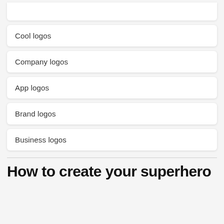Cool logos
Company logos
App logos
Brand logos
Business logos
How to create your superhero